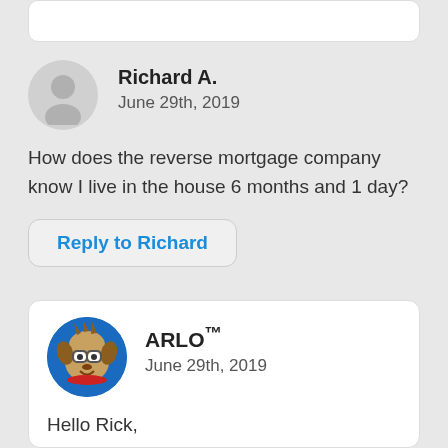[Figure (other): Partial top card - bottom edge of previous comment card]
Richard A.
June 29th, 2019
How does the reverse mortgage company know I live in the house 6 months and 1 day?
Reply to Richard
[Figure (illustration): ARLO mascot avatar - animated dog character with glasses on blue circle background]
ARLO™
June 29th, 2019
Hello Rick,